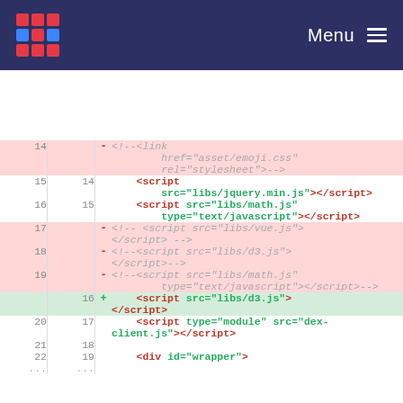Menu
[Figure (screenshot): Code diff view showing HTML script tag changes. Lines 14-22 shown with old/new line numbers, removed lines highlighted pink, added lines highlighted green. Removed: commented-out link and script tags for vue.js, d3.js, math.js. Added: script tag for libs/d3.js. Normal lines show script tags for jquery.min.js, libs/math.js, dex-client.js, and div with id=wrapper.]